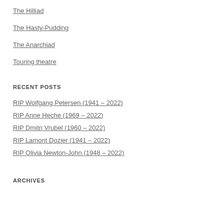The Hilliad
The Hasty-Pudding
The Anarchiad
Touring theatre
RECENT POSTS
RIP Wolfgang Petersen (1941 – 2022)
RIP Anne Heche (1969 – 2022)
RIP Dmitri Vrubel (1960 – 2022)
RIP Lamont Dozier (1941 – 2022)
RIP Olivia Newton-John (1948 – 2022)
ARCHIVES